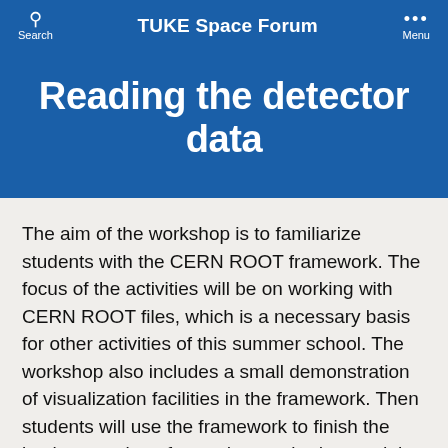TUKE Space Forum
Reading the detector data
The aim of the workshop is to familiarize students with the CERN ROOT framework. The focus of the activities will be on working with CERN ROOT files, which is a necessary basis for other activities of this summer school. The workshop also includes a small demonstration of visualization facilities in the framework. Then students will use the framework to finish the implementation of a reader required to read the